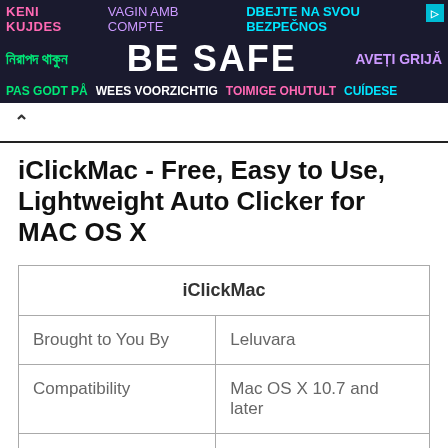[Figure (other): Multilingual safety advertisement banner with dark background. Row 1: 'KENI KUJDES' in pink, 'VAGIN AMB COMPTE' in purple, 'DBEJTE NA SVOU BEZPEČNOS' in cyan. Row 2: Bengali text in green, 'BE SAFE' in large white bold text, 'AVEȚI GRIJĂ' in purple. Row 3: 'PAS GODT PÅ' in green, 'WEES VOORZICHTIG' in white, 'TOIMIGE OHUTULT' in pink, 'CUÍDESE' in cyan.]
iClickMac - Free, Easy to Use, Lightweight Auto Clicker for MAC OS X
| iClickMac |
| --- |
| Brought to You By | Leluvara |
| Compatibility | Mac OS X 10.7 and later |
|  | Automatic clicks |